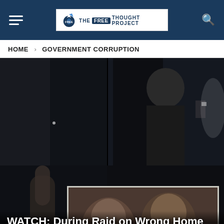THE FREE THOUGHT PROJECT
HOME > GOVERNMENT CORRUPTION
[Figure (photo): Collage of three dark video screenshots showing police raid footage, with a top-left darker image, a top-right image showing a person from behind near a door, a bottom-left image showing a person's arm, and a bottom-center inset image showing two men's faces.]
WATCH: During Raid on Wrong Home